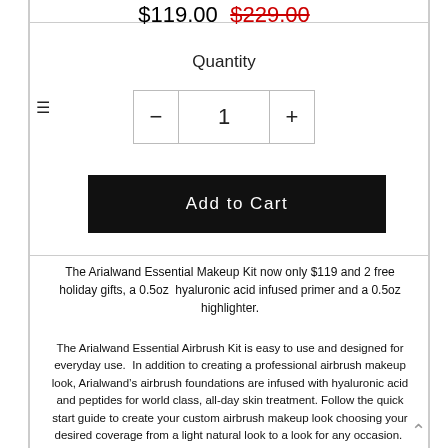$119.00  $229.00
Quantity
[Figure (screenshot): Quantity selector with minus button, 1, and plus button]
[Figure (screenshot): Add to Cart black button]
The Arialwand Essential Makeup Kit now only $119 and 2 free holiday gifts, a 0.5oz  hyaluronic acid infused primer and a 0.5oz highlighter.
The Arialwand Essential Airbrush Kit is easy to use and designed for everyday use.  In addition to creating a professional airbrush makeup look, Arialwand’s airbrush foundations are infused with hyaluronic acid and peptides for world class, all-day skin treatment. Follow the quick start guide to create your custom airbrush makeup look choosing your desired coverage from a light natural look to a look for any occasion.  The contour and define bronzer is perfect to add a touch of shimmer to any look.